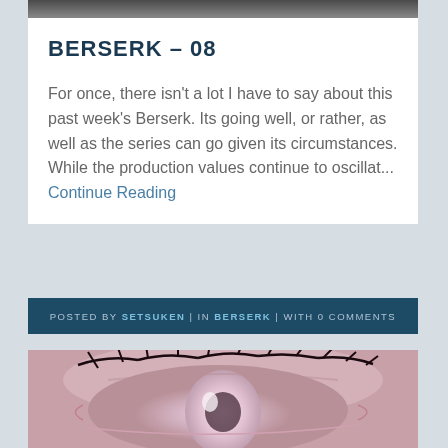[Figure (photo): Top image strip, partially visible dark image at top of page]
BERSERK – 08
For once, there isn't a lot I have to say about this past week's Berserk. Its going well, or rather, as well as the series can go given its circumstances. While the production values continue to oscillat... Continue Reading
POSTED BY SETSUKEN | IN BERSERK | WITH 0 COMMENTS
[Figure (photo): Close-up photo of an eye with detailed eyelashes, iris visible]